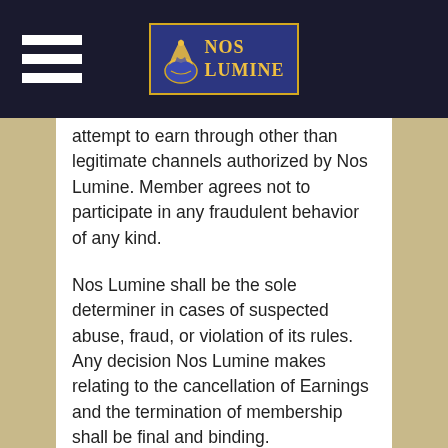Nos Lumine
attempt to earn through other than legitimate channels authorized by Nos Lumine. Member agrees not to participate in any fraudulent behavior of any kind.
Nos Lumine shall be the sole determiner in cases of suspected abuse, fraud, or violation of its rules. Any decision Nos Lumine makes relating to the cancellation of Earnings and the termination of membership shall be final and binding.
Spamming is strickly prohibited. Any spamming done to advertise Nos